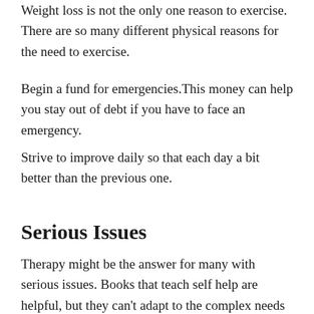Weight loss is not the only one reason to exercise. There are so many different physical reasons for the need to exercise.
Begin a fund for emergencies.This money can help you stay out of debt if you have to face an emergency.
Strive to improve daily so that each day a bit better than the previous one.
Serious Issues
Therapy might be the answer for many with serious issues. Books that teach self help are helpful, but they can't adapt to the complex needs of those who have more serious issues. Simply talking can assist you to